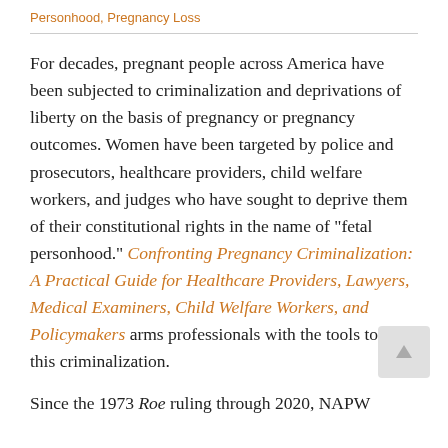Personhood, Pregnancy Loss
For decades, pregnant people across America have been subjected to criminalization and deprivations of liberty on the basis of pregnancy or pregnancy outcomes. Women have been targeted by police and prosecutors, healthcare providers, child welfare workers, and judges who have sought to deprive them of their constitutional rights in the name of "fetal personhood." Confronting Pregnancy Criminalization: A Practical Guide for Healthcare Providers, Lawyers, Medical Examiners, Child Welfare Workers, and Policymakers arms professionals with the tools to end this criminalization.
Since the 1973 Roe ruling through 2020, NAPW